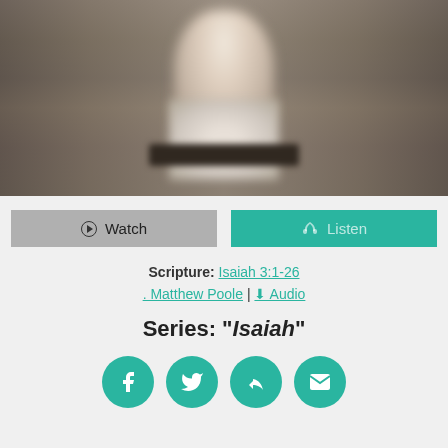[Figure (photo): Blurred photo of a person standing at a podium or lectern in front of a screen, seen from the front in a room with wooden/dark background tones.]
Watch  Listen
Scripture: Isaiah 3:1-26 . Matthew Poole | ⬇ Audio
Series: "Isaiah"